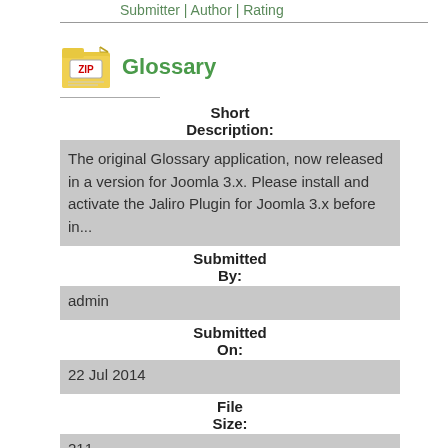Submitter | Author | Rating
[Figure (illustration): ZIP file folder icon in yellow/gold color]
Glossary
Short Description:
The original Glossary application, now released in a version for Joomla 3.x. Please install and activate the Jaliro Plugin for Joomla 3.x before in...
Submitted By:
admin
Submitted On:
22 Jul 2014
File Size:
211